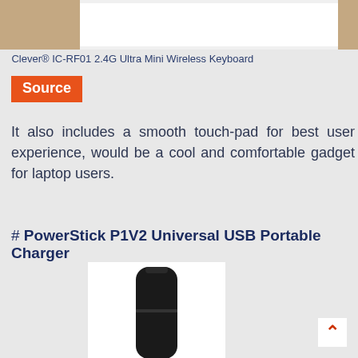[Figure (photo): Top portion of a product photo showing a wireless keyboard with a white background, partially cropped, with hands visible at the sides.]
Clever® IC-RF01 2.4G Ultra Mini Wireless Keyboard
Source
It also includes a smooth touch-pad for best user experience, would be a cool and comfortable gadget for laptop users.
# PowerStick P1V2 Universal USB Portable Charger
[Figure (photo): Photo of a black USB portable charger device (PowerStick P1V2), cylindrical/rectangular shape, shown partially cropped from below.]